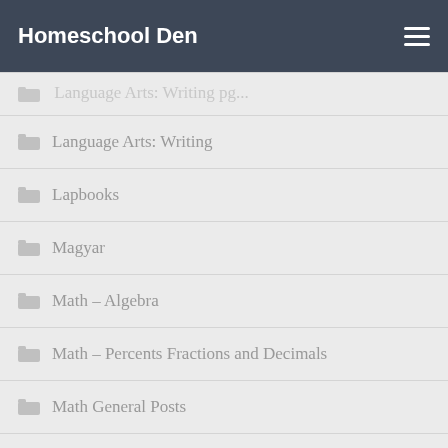Homeschool Den
Language Arts: Writing
Lapbooks
Magyar
Math – Algebra
Math – Percents Fractions and Decimals
Math General Posts
Math–Addition
Math–Division